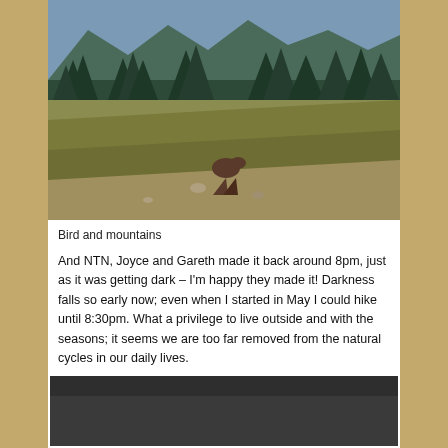[Figure (photo): A bird standing in a mountain meadow with evergreen trees and mountain slopes in the background. The foreground shows grassy, rocky terrain.]
Bird and mountains
And NTN, Joyce and Gareth made it back around 8pm, just as it was getting dark – I'm happy they made it! Darkness falls so early now; even when I started in May I could hike until 8:30pm. What a privilege to live outside and with the seasons; it seems we are too far removed from the natural cycles in our daily lives.
[Figure (photo): A dark/night photograph, mostly dark gray tones, partially visible.]